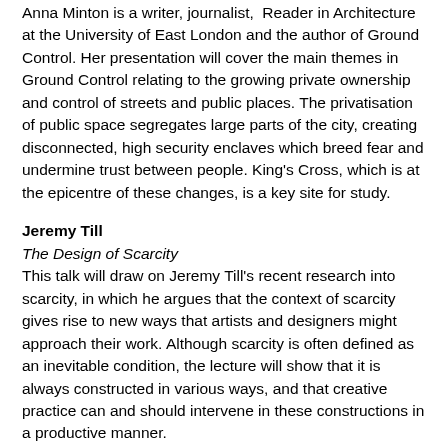Anna Minton is a writer, journalist,  Reader in Architecture at the University of East London and the author of Ground Control. Her presentation will cover the main themes in Ground Control relating to the growing private ownership and control of streets and public places. The privatisation of public space segregates large parts of the city, creating disconnected, high security enclaves which breed fear and undermine trust between people. King's Cross, which is at the epicentre of these changes, is a key site for study.
Jeremy Till
The Design of Scarcity
This talk will draw on Jeremy Till's recent research into scarcity, in which he argues that the context of scarcity gives rise to new ways that artists and designers might approach their work. Although scarcity is often defined as an inevitable condition, the lecture will show that it is always constructed in various ways, and that creative practice can and should intervene in these constructions in a productive manner.
Sam Burford